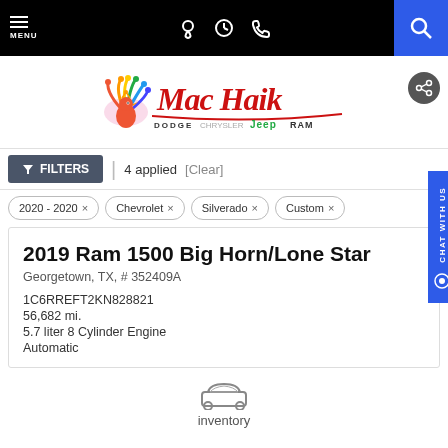MENU | navigation icons | search
[Figure (logo): Mac Haik Dodge Chrysler Jeep Ram dealership logo with colorful peacock/bird icon]
FILTERS | 4 applied [Clear]
2020 - 2020 ×
Chevrolet ×
Silverado ×
Custom ×
2019 Ram 1500 Big Horn/Lone Star
Georgetown, TX, # 352409A
1C6RREFT2KN828821
56,682 mi.
5.7 liter 8 Cylinder Engine
Automatic
[Figure (illustration): Car/vehicle icon]
inventory